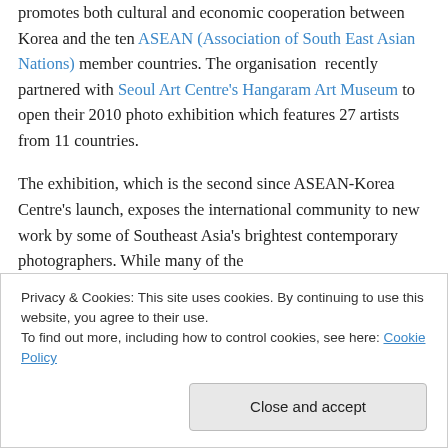promotes both cultural and economic cooperation between Korea and the ten ASEAN (Association of South East Asian Nations) member countries. The organisation recently partnered with Seoul Art Centre's Hangaram Art Museum to open their 2010 photo exhibition which features 27 artists from 11 countries.

The exhibition, which is the second since ASEAN-Korea Centre's launch, exposes the international community to new work by some of Southeast Asia's brightest contemporary photographers. While many of the
Privacy & Cookies: This site uses cookies. By continuing to use this website, you agree to their use.
To find out more, including how to control cookies, see here: Cookie Policy

[Close and accept]